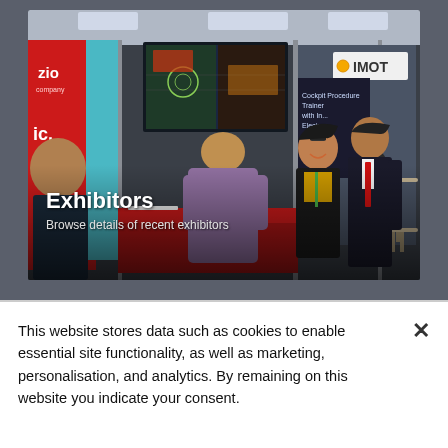[Figure (photo): Trade show exhibition hall photo showing several people at a booth. A woman with glasses and a yellow top is smiling, a man in a suit with a red tie is to the right, another man with his back turned is in the center wearing a purple shirt. Red exhibition banners are visible on the left with partial text 'zio company', a large display screen shows navigation/cockpit imagery. Text overlays read 'Exhibitors' in bold white and 'Browse details of recent exhibitors' below. Background booths include one labeled 'IMOT'.]
Exhibitors
Browse details of recent exhibitors
This website stores data such as cookies to enable essential site functionality, as well as marketing, personalisation, and analytics. By remaining on this website you indicate your consent.